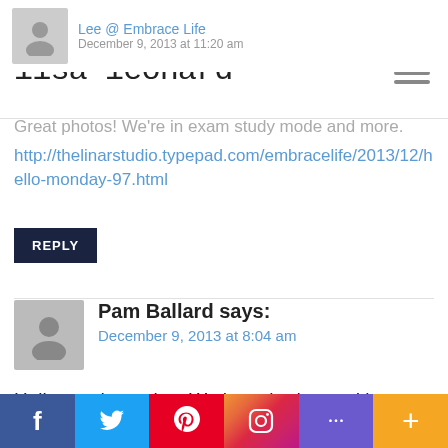lisa leonard®
Great photos! We're in exam study mode and more. http://thelinarstudio.typepad.com/embracelife/2013/12/hello-monday-97.html
REPLY
Pam Ballard says: December 9, 2013 at 8:04 am
Hello,good morning. We have had record lows this weekend. Snow and freezing temps. I have been in since Friday. Will have to venture out today to pick up my